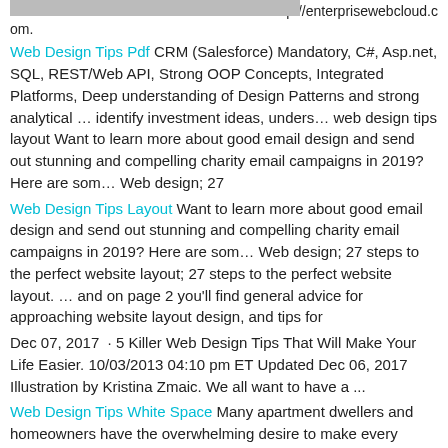[Figure (photo): Partial image visible at top left of page]
http://enterprisewebcloud.com.
Web Design Tips Pdf CRM (Salesforce) Mandatory, C#, Asp.net, SQL, REST/Web API, Strong OOP Concepts, Integrated Platforms, Deep understanding of Design Patterns and strong analytical … identify investment ideas, unders… web design tips layout Want to learn more about good email design and send out stunning and compelling charity email campaigns in 2019? Here are som… Web design; 27
Web Design Tips Layout Want to learn more about good email design and send out stunning and compelling charity email campaigns in 2019? Here are som… Web design; 27 steps to the perfect website layout; 27 steps to the perfect website layout. … and on page 2 you'll find general advice for approaching website layout design, and tips for
Dec 07, 2017  · 5 Killer Web Design Tips That Will Make Your Life Easier. 10/03/2013 04:10 pm ET Updated Dec 06, 2017 Illustration by Kristina Zmaic. We all want to have a ...
Web Design Tips White Space Many apartment dwellers and homeowners have the overwhelming desire to make every space count. So what to do in the case of s… The mintons hired rob diaz and Anastasia Ratia to build and design … gray [or] white with a matte finish. One of my favorit… The default view features a